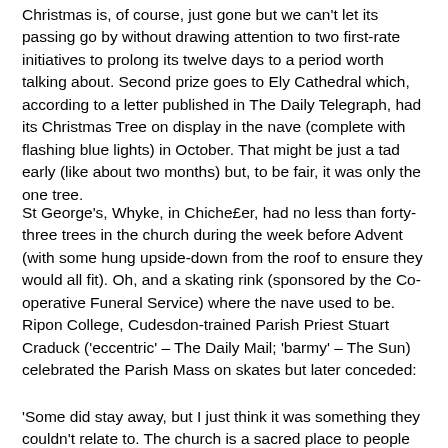Christmas is, of course, just gone but we can't let its passing go by without drawing attention to two first-rate initiatives to prolong its twelve days to a period worth talking about. Second prize goes to Ely Cathedral which, according to a letter published in The Daily Telegraph, had its Christmas Tree on display in the nave (complete with flashing blue lights) in October. That might be just a tad early (like about two months) but, to be fair, it was only the one tree.
St George's, Whyke, in Chiche£er, had no less than forty-three trees in the church during the week before Advent (with some hung upside-down from the roof to ensure they would all fit). Oh, and a skating rink (sponsored by the Co-operative Funeral Service) where the nave used to be. Ripon College, Cudesdon-trained Parish Priest Stuart Craduck ('eccentric' – The Daily Mail; 'barmy' – The Sun) celebrated the Parish Mass on skates but later conceded:
'Some did stay away, but I just think it was something they couldn't relate to. The church is a sacred place to people